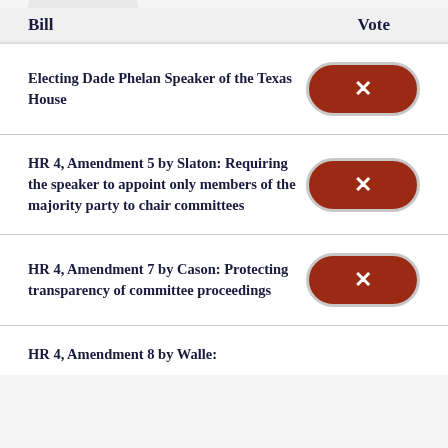| Bill | Vote |
| --- | --- |
| Electing Dade Phelan Speaker of the Texas House | ✗ |
| HR 4, Amendment 5 by Slaton: Requiring the speaker to appoint only members of the majority party to chair committees | ✗ |
| HR 4, Amendment 7 by Cason: Protecting transparency of committee proceedings | ✗ |
| HR 4, Amendment 8 by Walle: |  |